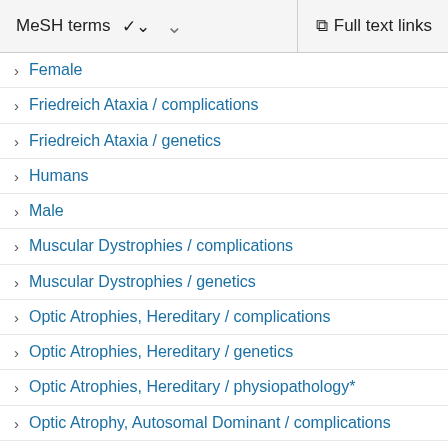MeSH terms   ∨   Full text links
Female
Friedreich Ataxia / complications
Friedreich Ataxia / genetics
Humans
Male
Muscular Dystrophies / complications
Muscular Dystrophies / genetics
Optic Atrophies, Hereditary / complications
Optic Atrophies, Hereditary / genetics
Optic Atrophies, Hereditary / physiopathology*
Optic Atrophy, Autosomal Dominant / complications
Optic Atrophy, Autosomal Dominant / genetics
Optic Atrophy, Autosomal Dominant / physiopathology
Optic Atrophy, Hereditary, Leber / complications
Optic Atrophy, Hereditary, Leber / genetics
Optic Atrophy, Hereditary, Leber / physiopathology